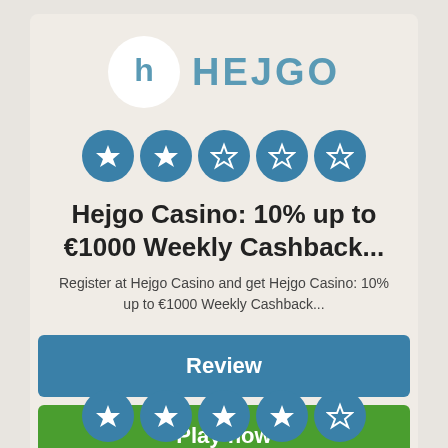[Figure (logo): Hejgo Casino logo: white circle with stylized H letter icon, and HEJGO text in white bold letters on teal/blue background]
[Figure (infographic): 5 star rating circles in teal/blue: 2 filled stars, 3 empty stars]
Hejgo Casino: 10% up to €1000 Weekly Cashback...
Register at Hejgo Casino and get Hejgo Casino: 10% up to €1000 Weekly Cashback...
Review
Play now
[Figure (infographic): 5 star rating circles in teal/blue: 4 filled stars, 1 empty star]